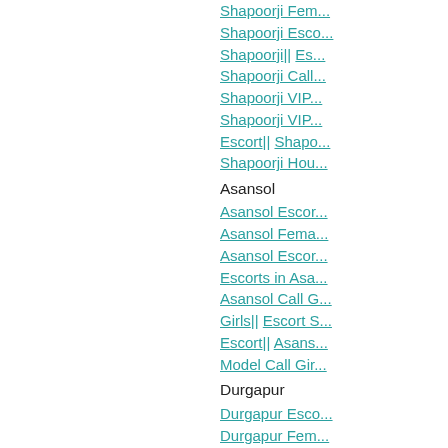Shapoorji Fem...
Shapoorji Esco...
Shapoorji|| Es...
Shapoorji Call...
Shapoorji VIP...
Shapoorji VIP...
Escort|| Shapo...
Shapoorji Hou...
Asansol
Asansol Escor...
Asansol Fema...
Asansol Escor...
Escorts in Asa...
Asansol Call G...
Girls|| Escort S...
Escort|| Asans...
Model Call Gir...
Durgapur
Durgapur Esco...
Durgapur Fem...
Durgapur Esco...
Durgapur|| Esc...
Durgapur Call...
Durgapur VIP...
Durgapur VIP...
Escort|| Durga...